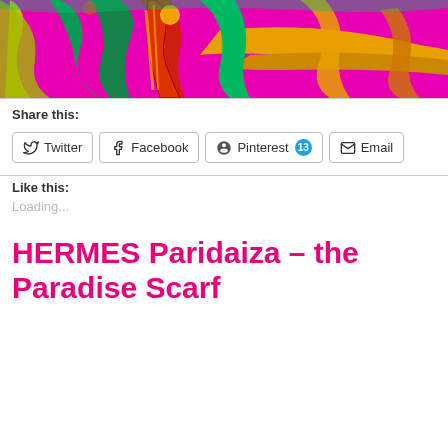[Figure (illustration): Colorful psychedelic illustration with figures in magenta, green, yellow, and red on a bright pink/magenta background, partially cropped at top.]
Share this:
Twitter  Facebook  Pinterest 13  Email
Like this:
Loading...
HERMES Paridaiza – the Paradise Scarf